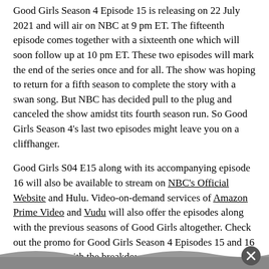Good Girls Season 4 Episode 15 is releasing on 22 July 2021 and will air on NBC at 9 pm ET. The fifteenth episode comes together with a sixteenth one which will soon follow up at 10 pm ET. These two episodes will mark the end of the series once and for all. The show was hoping to return for a fifth season to complete the story with a swan song. But NBC has decided pull to the plug and canceled the show amidst tits fourth season run. So Good Girls Season 4's last two episodes might leave you on a cliffhanger.
Good Girls S04 E15 along with its accompanying episode 16 will also be available to stream on NBC's Official Website and Hulu. Video-on-demand services of Amazon Prime Video and Vudu will also offer the episodes along with the previous seasons of Good Girls altogether. Check out the promo for Good Girls Season 4 Episodes 15 and 16 below along with the breakdown.